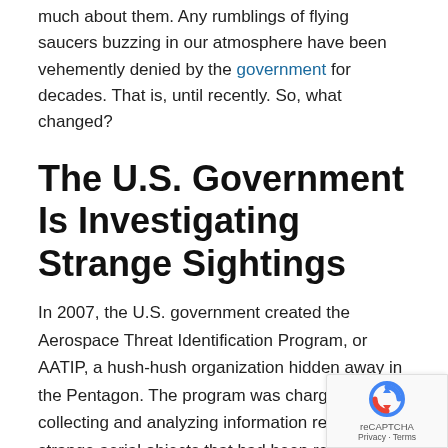much about them. Any rumblings of flying saucers buzzing in our atmosphere have been vehemently denied by the government for decades. That is, until recently. So, what changed?
The U.S. Government Is Investigating Strange Sightings
In 2007, the U.S. government created the Aerospace Threat Identification Program, or AATIP, a hush-hush organization hidden away in the Pentagon. The program was charged with collecting and analyzing information regarding strange aerial objects that had been reported to the Department of Defense (DoD) by service members through the years.